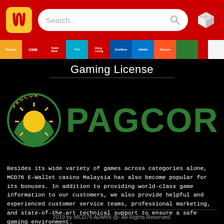[Figure (logo): Red McDonald's website header with yellow M logo on left, search bar in center, and 3D cube icon on right]
[Figure (logo): Payment provider logos strip: Maybank, CIMB, Public Bank, TNG, Hong Leong, DuitNow, TrueMoney, Shopee, and others]
Gaming License
[Figure (logo): PAGCOR logo: green circular emblem with sun and hands on left, large green PAGCOR text on right, on black background]
Besides its wide variety of games across categories alone, MCD76 E-Wallet casino Malaysia has also become popular for its bonuses. In addition to providing world-class game information to our customers, we also provide helpful and experienced customer service teams, professional marketing, and state-of-the-art technical support to ensure a safe gaming environment.
2019 by MCD76 ADMIN @- All Rights Reserved.